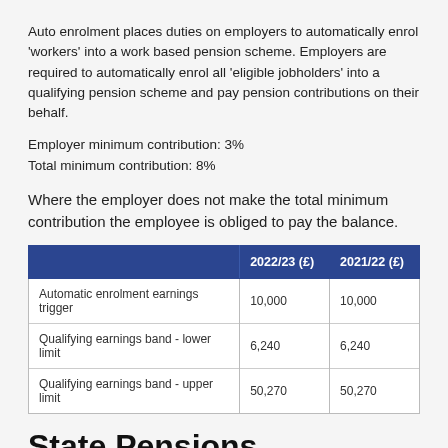Auto enrolment places duties on employers to automatically enrol 'workers' into a work based pension scheme. Employers are required to automatically enrol all 'eligible jobholders' into a qualifying pension scheme and pay pension contributions on their behalf.
Employer minimum contribution: 3%
Total minimum contribution: 8%
Where the employer does not make the total minimum contribution the employee is obliged to pay the balance.
|  | 2022/23 (£) | 2021/22 (£) |
| --- | --- | --- |
| Automatic enrolment earnings trigger | 10,000 | 10,000 |
| Qualifying earnings band - lower limit | 6,240 | 6,240 |
| Qualifying earnings band - upper limit | 50,270 | 50,270 |
State Pensions